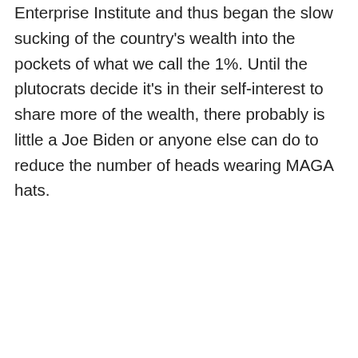Enterprise Institute and thus began the slow sucking of the country's wealth into the pockets of what we call the 1%. Until the plutocrats decide it's in their self-interest to share more of the wealth, there probably is little a Joe Biden or anyone else can do to reduce the number of heads wearing MAGA hats.
↳ Reply
wcroth55 on November 23, 2020 at 4:20 pm
Healing, yes, and everything you said, thank you.
But even when Trump is gone, his unindicted-co-abusers are still there, still ready to destroy anything at all for short-term gain. (e.g. Loeffler)